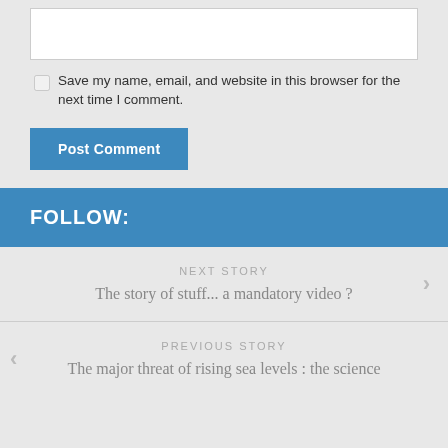Save my name, email, and website in this browser for the next time I comment.
Post Comment
FOLLOW:
NEXT STORY
The story of stuff... a mandatory video ?
PREVIOUS STORY
The major threat of rising sea levels : the science